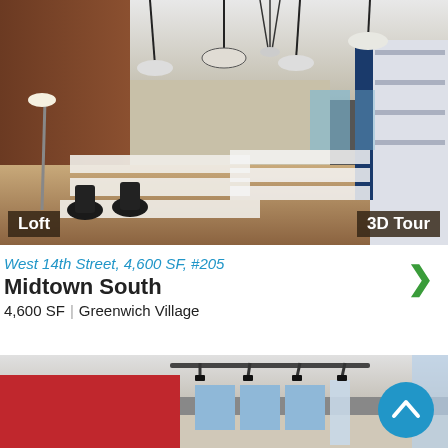[Figure (photo): Interior photo of a loft office space with brick walls, pendant lights, long white desks with office chairs, and wood floors. Badge overlays: 'Loft' bottom-left and '3D Tour' bottom-right.]
West 14th Street, 4,600 SF, #205
Midtown South
4,600 SF | Greenwich Village
[Figure (photo): Interior photo of a commercial space with a white ceiling, track lighting, red accent wall, and large windows. A blue circular scroll-up button appears at the bottom right.]